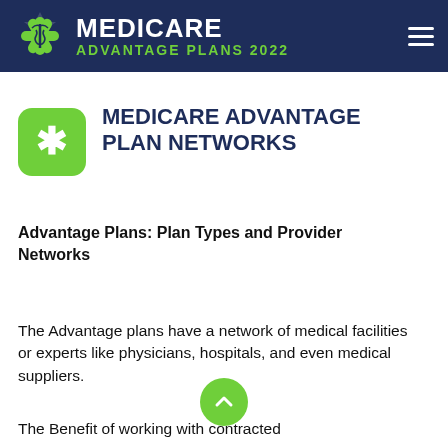MEDICARE ADVANTAGE PLANS 2022
MEDICARE ADVANTAGE PLAN NETWORKS
Advantage Plans: Plan Types and Provider Networks
The Advantage plans have a network of medical facilities or experts like physicians, hospitals, and even medical suppliers.
The Benefit of working with contracted